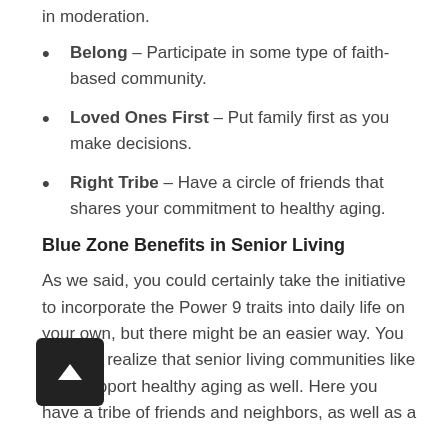in moderation.
Belong – Participate in some type of faith-based community.
Loved Ones First – Put family first as you make decisions.
Right Tribe – Have a circle of friends that shares your commitment to healthy aging.
Blue Zone Benefits in Senior Living
As we said, you could certainly take the initiative to incorporate the Power 9 traits into daily life on your own, but there might be an easier way. You may not realize that senior living communities like ours support healthy aging as well. Here you have a tribe of friends and neighbors, as well as a